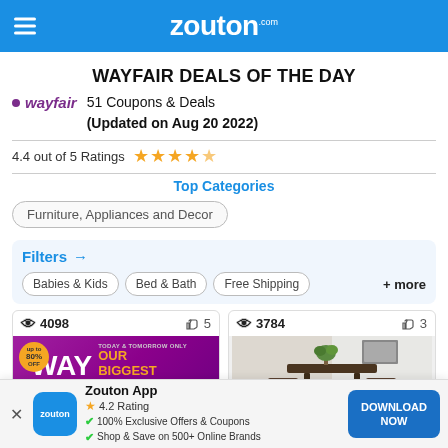zouton.com
WAYFAIR DEALS OF THE DAY
51 Coupons & Deals
(Updated on Aug 20 2022)
4.4 out of 5 Ratings ★★★★☆
Top Categories
Furniture, Appliances and Decor
Filters →
Babies & Kids
Bed & Bath
Free Shipping
+ more
[Figure (screenshot): WAY DAY promotional deal card — views 4098, likes 5. Purple background with WAY DAY text and 'OUR BIGGEST SALE OF THE YEAR' in orange.]
[Figure (photo): Furniture deal card — views 3784, likes 3. Shows a bar-height dining table set with stools in a room setting.]
Zouton App
4.2 Rating
✔ 100% Exclusive Offers & Coupons
✔ Shop & Save on 500+ Online Brands
DOWNLOAD NOW